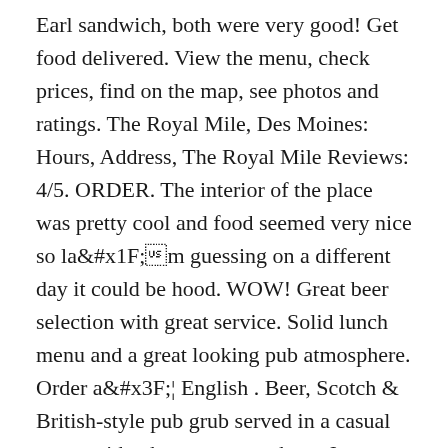Earl sandwich, both were very good! Get food delivered. View the menu, check prices, find on the map, see photos and ratings. The Royal Mile, Des Moines: Hours, Address, The Royal Mile Reviews: 4/5. ORDER. The interior of the place was pretty cool and food seemed very nice so lâ??m guessing on a different day it could be hood. WOW! Great beer selection with great service. Solid lunch menu and a great looking pub atmosphere. Order â?¦ English . Beer, Scotch & British-style pub grub served in a casual space with a homey atmosphere. Java Joe's Coffeehouse #73 of 442 Restaurants in Des Moines 71 reviews. Food was good, lots of it - no cheaping out on portions. 36 Reviews #6 of 45 Nightlife in Des Moines. 208 4th St . Fun, British pup atmosphere. Some time while the wife had the Steak and Guinness pie and the Palace the. While we waited for Roka to